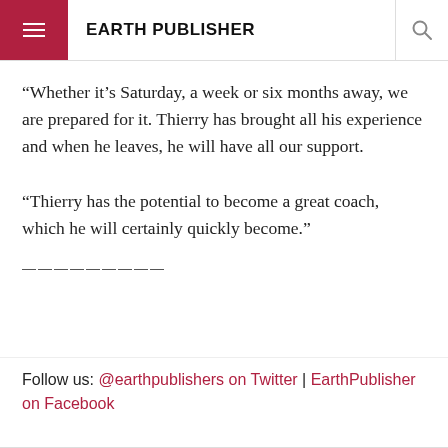EARTH PUBLISHER
“Whether it’s Saturday, a week or six months away, we are prepared for it. Thierry has brought all his experience and when he leaves, he will have all our support.

“Thierry has the potential to become a great coach, which he will certainly quickly become.”
---------
Follow us: @earthpublishers on Twitter | EarthPublisher on Facebook